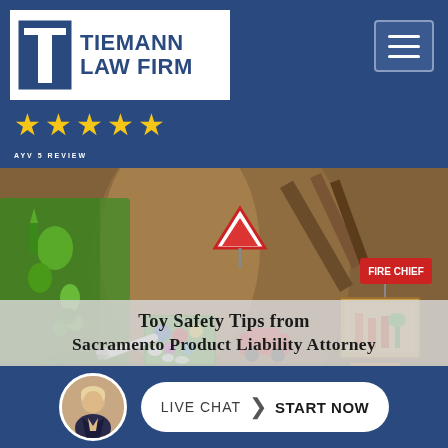[Figure (logo): Tiemann Law Firm logo with T icon and five gold stars, on dark blue header background]
[Figure (photo): Aerial view of colorful children's toys scattered on a wooden surface, including green plastic figures, colored balls, a red fire chief sign, toy cars, and small wooden boxes]
Toy Safety Tips from Sacramento Product Liability Attorney
[Figure (photo): Live Chat button with attorney avatar photo and 'START NOW' call to action]